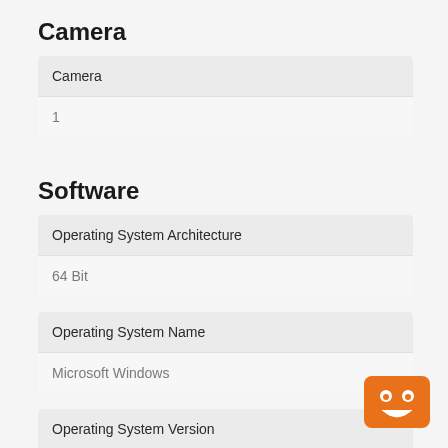Camera
| Camera |
| --- |
| 1 |
Software
| Operating System Architecture |
| --- |
| 64 Bit |
| Operating System Name |
| --- |
| Microsoft Windows |
| Operating System Version |
| --- |
| Windows 10 Pro |
[Figure (illustration): Orange chatbot/robot face icon in bottom-right corner]